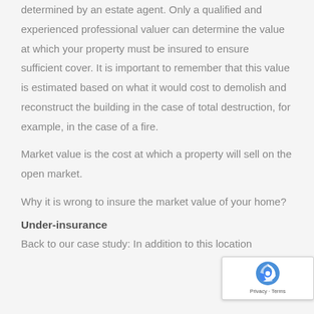determined by an estate agent. Only a qualified and experienced professional valuer can determine the value at which your property must be insured to ensure sufficient cover. It is important to remember that this value is estimated based on what it would cost to demolish and reconstruct the building in the case of total destruction, for example, in the case of a fire.
Market value is the cost at which a property will sell on the open market.
Why it is wrong to insure the market value of your home?
Under-insurance
Back to our case study: In addition to this location